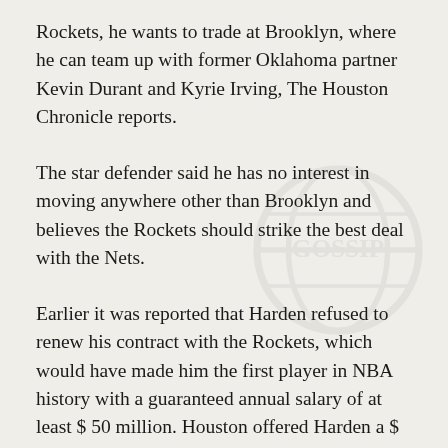Rockets, he wants to trade at Brooklyn, where he can team up with former Oklahoma partner Kevin Durant and Kyrie Irving, The Houston Chronicle reports.
The star defender said he has no interest in moving anywhere other than Brooklyn and believes the Rockets should strike the best deal with the Nets.
Earlier it was reported that Harden refused to renew his contract with the Rockets, which would have made him the first player in NBA history with a guaranteed annual salary of at least $ 50 million. Houston offered Harden a $ 103 million maximum contract extension over two seasons,